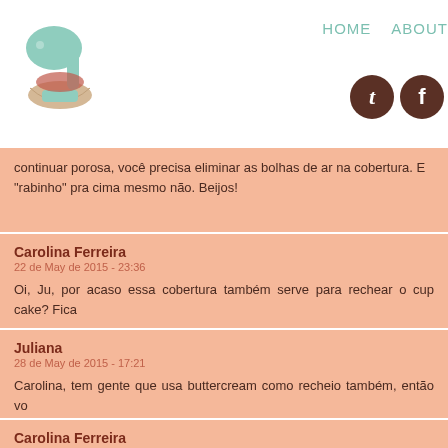HOME  ABOUT
continuar porosa, você precisa eliminar as bolhas de ar na cobertura. E "rabinho" pra cima mesmo não. Beijos!
Carolina Ferreira
22 de May de 2015 - 23:36
Oi, Ju, por acaso essa cobertura também serve para rechear o cup cake? Fica
Juliana
28 de May de 2015 - 17:21
Carolina, tem gente que usa buttercream como recheio também, então vo costumo, mas vai de cada um. Beijos!
Carolina Ferreira
29 de May de 2015 - 23:37
Que cobertura deliciosa! Fiz e deu super certo! E o que sobrou comi c m Rsrsrs! Mas o bolo achei que ficou com pouco gosto de chocolate. É assi